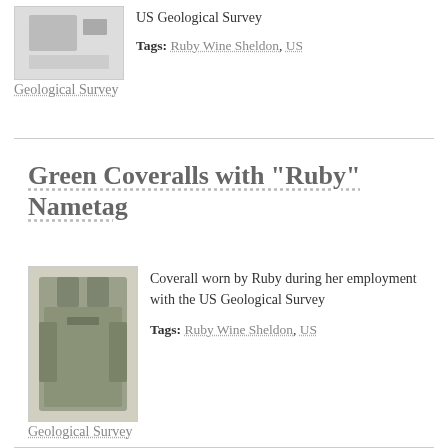[Figure (photo): Thumbnail photo of an object related to US Geological Survey, shown in a white display box]
US Geological Survey
Tags: Ruby Wine Sheldon, US Geological Survey
Green Coveralls with "Ruby" Nametag
[Figure (photo): Photo of green coveralls worn by Ruby during her employment with the US Geological Survey]
Coverall worn by Ruby during her employment with the US Geological Survey
Tags: Ruby Wine Sheldon, US Geological Survey